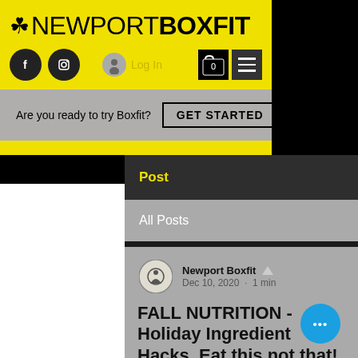NEWPORT BOXFIT — website header with logo, social icons, Log In, cart, and hamburger menu
Are you ready to try Boxfit? GET STARTED
Post
All Posts
Newport Boxfit  Dec 10, 2020 · 1 min
FALL NUTRITION - Holiday Ingredient Hacks, Eat this not that!